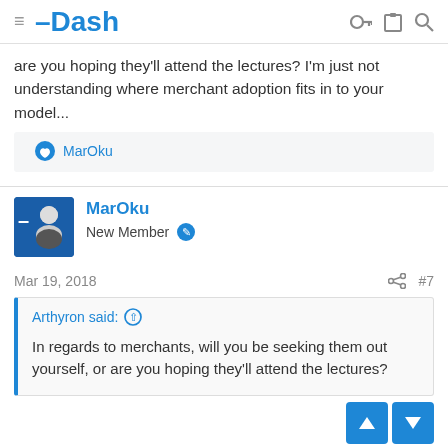Dash
are you hoping they'll attend the lectures? I'm just not understanding where merchant adoption fits in to your model...
MarOku
MarOku
New Member
Mar 19, 2018
#7
Arthyron said:
In regards to merchants, will you be seeking them out yourself, or are you hoping they'll attend the lectures?